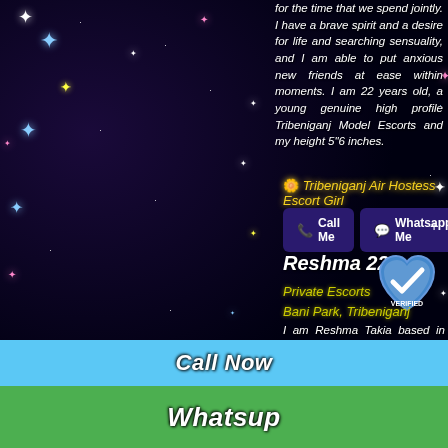for the time that we spend jointly. I have a brave spirit and a desire for life and searching sensuality, and I am able to put anxious new friends at ease within moments. I am 22 years old, a young genuine high profile Tribeniganj Model Escorts and my height 5"6 inches.
🌼 Tribeniganj Air Hostess Escort Girl
📞 Call Me   💬 Whatsapp Me
Reshma 22
[Figure (illustration): Blue heart-shaped verified badge with checkmark and text VERIFIED]
Private Escorts
Bani Park, Tribeniganj
I am Reshma Takia based in Tribeniganj. I am a twenty two year-old , Independent Tribeniganj escorts who loves the corporate of true gentlemen.
Call Now
Whatsup